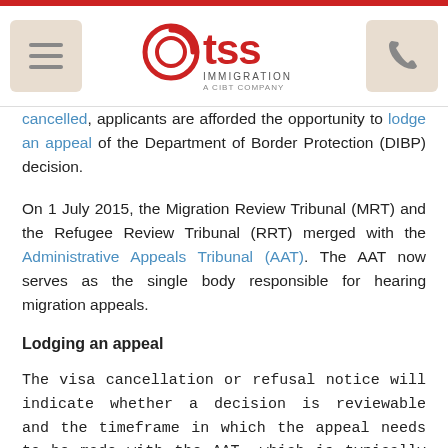TSS Immigration — A CIBT Company
cancelled, applicants are afforded the opportunity to lodge an appeal of the Department of Border Protection (DIBP) decision.
On 1 July 2015, the Migration Review Tribunal (MRT) and the Refugee Review Tribunal (RRT) merged with the Administrative Appeals Tribunal (AAT). The AAT now serves as the single body responsible for hearing migration appeals.
Lodging an appeal
The visa cancellation or refusal notice will indicate whether a decision is reviewable and the timeframe in which the appeal needs to be made with the AAT, which is typically 28 days from the date the decision was made. The AAT has the authority to reconsider the case within the same legislative framework as the primary decision maker at DIBP, and can